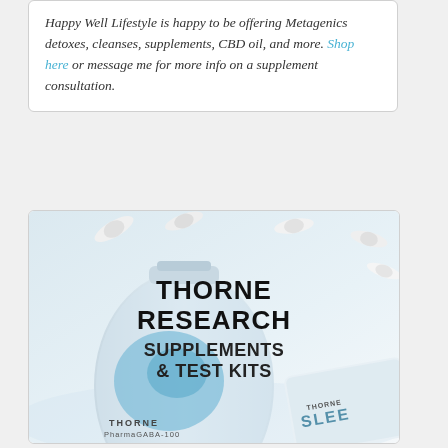Happy Well Lifestyle is happy to be offering Metagenics detoxes, cleanses, supplements, CBD oil, and more. Shop here or message me for more info on a supplement consultation.
[Figure (photo): Thorne Research promotional image showing supplement bottles (PermaGABA-100 and Thorne Sleep) with white capsules scattered, and bold text reading 'THORNE RESEARCH SUPPLEMENTS & TEST KITS']